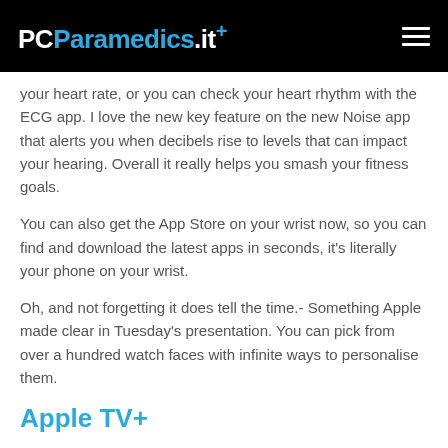PCParamedics.it+
your heart rate, or you can check your heart rhythm with the ECG app. I love the new key feature on the new Noise app that alerts you when decibels rise to levels that can impact your hearing. Overall it really helps you smash your fitness goals.
You can also get the App Store on your wrist now, so you can find and download the latest apps in seconds, it's literally your phone on your wrist.
Oh, and not forgetting it does tell the time.- Something Apple made clear in Tuesday's presentation. You can pick from over a hundred watch faces with infinite ways to personalise them.
Apple TV+